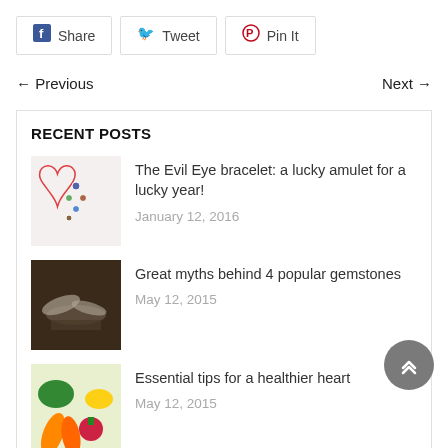Share  Tweet  Pin It
← Previous   Next →
RECENT POSTS
The Evil Eye bracelet: a lucky amulet for a lucky year! — January 12, 2016
Great myths behind 4 popular gemstones — May 12, 2015
Essential tips for a healthier heart — May 12, 2015